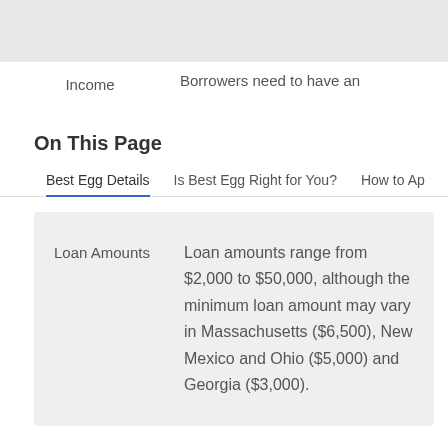Income
Borrowers need to have an
On This Page
Best Egg Details
Is Best Egg Right for You?
How to Ap
|  |  |
| --- | --- |
| Loan Amounts | Loan amounts range from $2,000 to $50,000, although the minimum loan amount may vary in Massachusetts ($6,500), New Mexico and Ohio ($5,000) and Georgia ($3,000). |